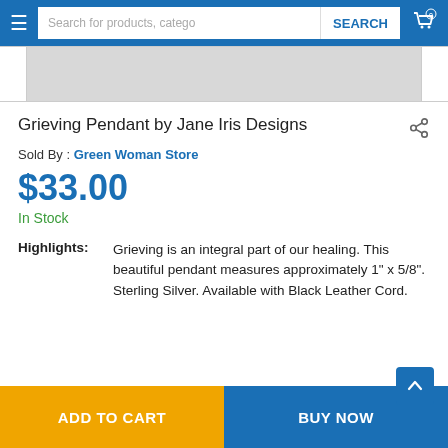[Figure (screenshot): E-commerce website navigation bar with hamburger menu, search box with placeholder text 'Search for products, catego', SEARCH button, and shopping cart icon with badge showing 0]
[Figure (photo): Product image placeholder area (grey rectangle)]
Grieving Pendant by Jane Iris Designs
Sold By : Green Woman Store
$33.00
In Stock
Highlights: Grieving is an integral part of our healing. This beautiful pendant measures approximately 1" x 5/8". Sterling Silver. Available with Black Leather Cord.
ADD TO CART
BUY NOW